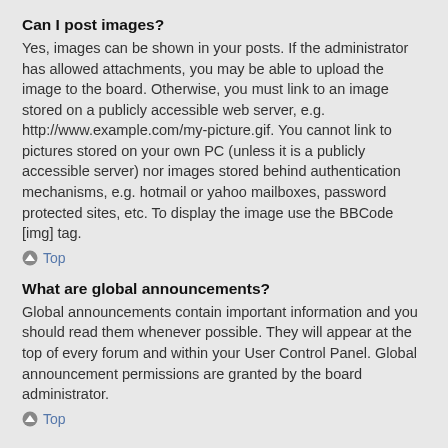Can I post images?
Yes, images can be shown in your posts. If the administrator has allowed attachments, you may be able to upload the image to the board. Otherwise, you must link to an image stored on a publicly accessible web server, e.g. http://www.example.com/my-picture.gif. You cannot link to pictures stored on your own PC (unless it is a publicly accessible server) nor images stored behind authentication mechanisms, e.g. hotmail or yahoo mailboxes, password protected sites, etc. To display the image use the BBCode [img] tag.
Top
What are global announcements?
Global announcements contain important information and you should read them whenever possible. They will appear at the top of every forum and within your User Control Panel. Global announcement permissions are granted by the board administrator.
Top